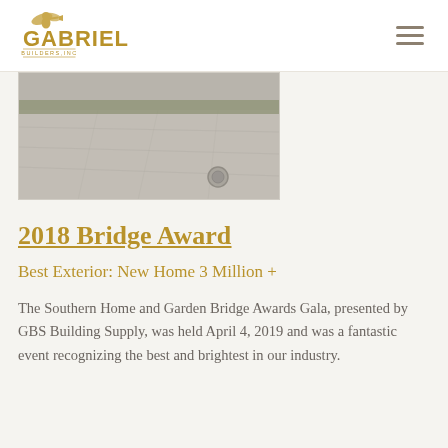[Figure (logo): Gabriel Builders, Inc logo with cherub/angel figure above text]
[Figure (photo): Overhead/aerial view of an exterior driveway or paved surface with landscaping visible]
2018 Bridge Award
Best Exterior: New Home 3 Million +
The Southern Home and Garden Bridge Awards Gala, presented by GBS Building Supply, was held April 4, 2019 and was a fantastic event recognizing the best and brightest in our industry.